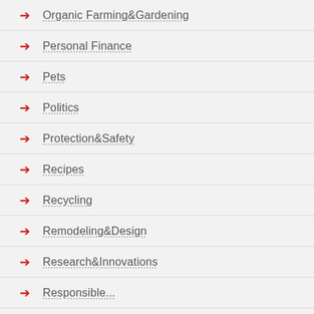Organic Farming&Gardening
Personal Finance
Pets
Politics
Protection&Safety
Recipes
Recycling
Remodeling&Design
Research&Innovations
Responsible...